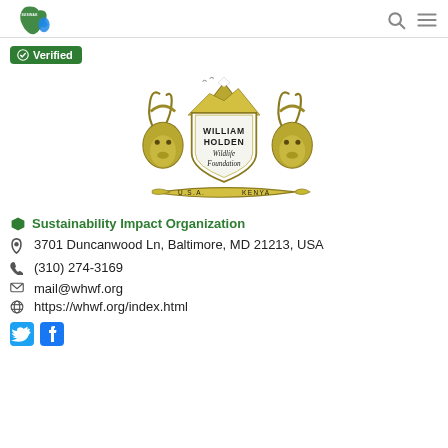SUSINAE logo | search icon | menu icon
✓ Verified
[Figure (logo): William Holden Wildlife Foundation logo — golden antelope heads flanking a shield with mountain, text: WILLIAM HOLDEN Wildlife Foundation, USA KENYA banner below]
Sustainability Impact Organization
3701 Duncanwood Ln, Baltimore, MD 21213, USA
(310) 274-3169
mail@whwf.org
https://whwf.org/index.html
[Figure (logo): Twitter (blue bird) and Facebook (blue f) social media icons]